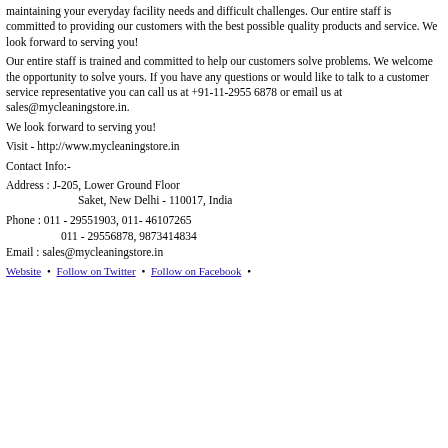maintaining your everyday facility needs and difficult challenges. Our entire staff is committed to providing our customers with the best possible quality products and service. We look forward to serving you!
Our entire staff is trained and committed to help our customers solve problems. We welcome the opportunity to solve yours. If you have any questions or would like to talk to a customer service representative you can call us at +91-11-2955 6878 or email us at sales@mycleaningstore.in.
We look forward to serving you!
Visit - http://www.mycleaningstore.in
Contact Info:-
Address : J-205, Lower Ground Floor
                    Saket, New Delhi - 110017, India
Phone : 011 - 29551903, 011- 46107265
              011 - 29556878, 9873414834
Email : sales@mycleaningstore.in
Website • Follow on Twitter • Follow on Facebook •